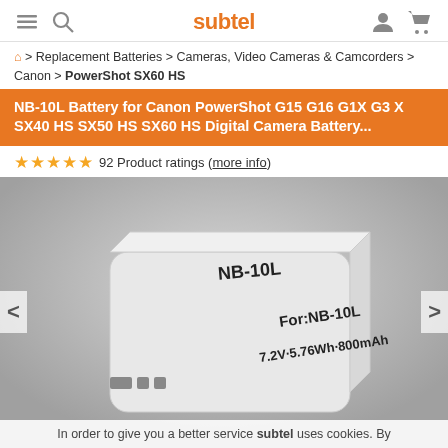subtel (navigation header with menu, search, account, cart icons)
> Replacement Batteries > Cameras, Video Cameras & Camcorders > Canon > PowerShot SX60 HS
NB-10L Battery for Canon PowerShot G15 G16 G1X G3 X SX40 HS SX50 HS SX60 HS Digital Camera Battery...
★★★★★ 92 Product ratings (more info)
[Figure (photo): White NB-10L replacement battery with text 'NB-10L', 'For:NB-10L', '7.2V·5.76Wh·800mAh' on it, shown on grey background with left/right navigation arrows]
In order to give you a better service subtel uses cookies. By